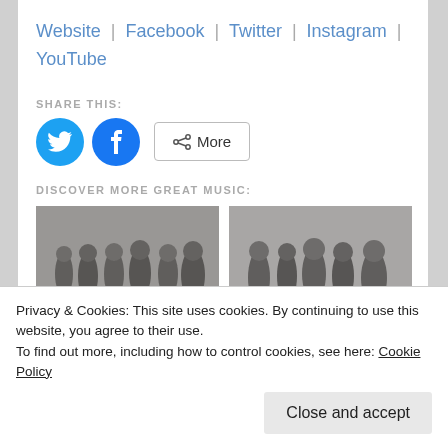Website | Facebook | Twitter | Instagram | YouTube
SHARE THIS:
[Figure (infographic): Social share buttons: Twitter (blue circle with bird icon), Facebook (blue circle with f icon), and a More button with share icon]
DISCOVER MORE GREAT MUSIC:
[Figure (photo): Black and white photo of a music band, approximately 6 members standing together]
[Figure (photo): Black and white photo of another music band, approximately 5 members standing together]
Privacy & Cookies: This site uses cookies. By continuing to use this website, you agree to their use.
To find out more, including how to control cookies, see here: Cookie Policy